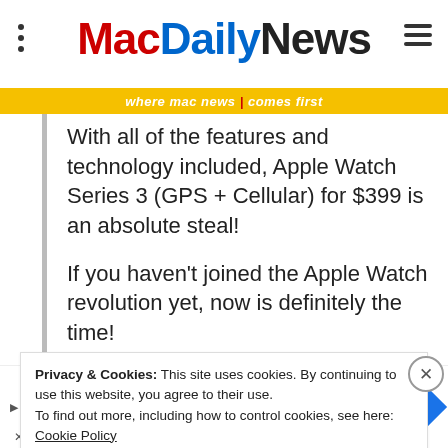MacDailyNews — where mac news / comes first
With all of the features and technology included, Apple Watch Series 3 (GPS + Cellular) for $399 is an absolute steal!
If you haven't joined the Apple Watch revolution yet, now is definitely the time!
Privacy & Cookies: This site uses cookies. By continuing to use this website, you agree to their use. To find out more, including how to control cookies, see here: Cookie Policy
[Figure (screenshot): Advertisement banner with circular logo, checkmark, 'In-store shopping' text, and navigation arrow diamond icon]